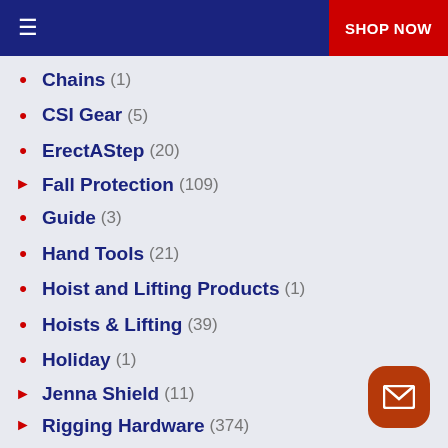≡  SHOP NOW
Chains (1)
CSI Gear (5)
ErectAStep (20)
Fall Protection (109)
Guide (3)
Hand Tools (21)
Hoist and Lifting Products (1)
Hoists & Lifting (39)
Holiday (1)
Jenna Shield (11)
Rigging Hardware (374)
Slingmax Rigging (281)
Slings (802)
Sorbent Products (11)
Speedbinders (3)
Vehicle Recovery Products (37)